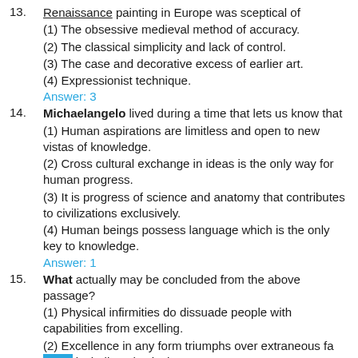13. Renaissance painting in Europe was sceptical of
(1) The obsessive medieval method of accuracy.
(2) The classical simplicity and lack of control.
(3) The case and decorative excess of earlier art.
(4) Expressionist technique.
Answer: 3
14. Michaelangelo lived during a time that lets us know that
(1) Human aspirations are limitless and open to new vistas of knowledge.
(2) Cross cultural exchange in ideas is the only way for human progress.
(3) It is progress of science and anatomy that contributes to civilizations exclusively.
(4) Human beings possess language which is the only key to knowledge.
Answer: 1
15. What actually may be concluded from the above passage?
(1) Physical infirmities do dissuade people with capabilities from excelling.
(2) Excellence in any form triumphs over extraneous factors including physical ailments.